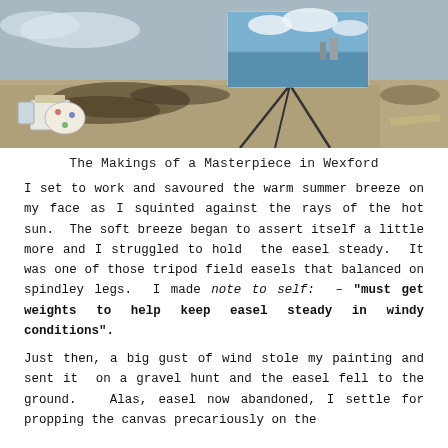[Figure (photo): A beach scene showing an artist's easel with a painting on it set up on a pebbly shore. Paint supplies are visible on the left. The painting on the easel shows a harbor or waterway scene with blue sky and clouds.]
The Makings of a Masterpiece in Wexford
I set to work and savoured the warm summer breeze on my face as I squinted against the rays of the hot sun.  The soft breeze began to assert itself a little more and I struggled to hold  the easel steady.  It was one of those tripod field easels that balanced on spindley legs.  I made note to self:  – "must get weights to help keep easel steady in windy conditions".
Just then, a big gust of wind stole my painting and sent it  on a gravel hunt and the easel fell to the ground.   Alas, easel now abandoned, I settle for propping the canvas precariously on the